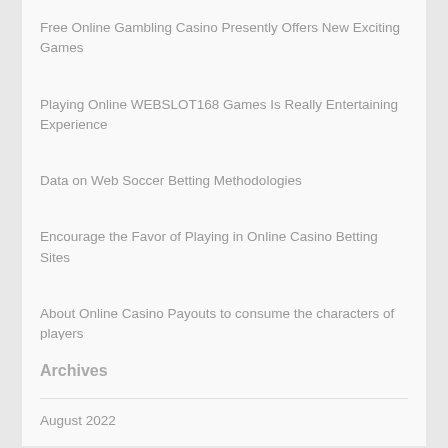Free Online Gambling Casino Presently Offers New Exciting Games
Playing Online WEBSLOT168 Games Is Really Entertaining Experience
Data on Web Soccer Betting Methodologies
Encourage the Favor of Playing in Online Casino Betting Sites
About Online Casino Payouts to consume the characters of players
Archives
August 2022